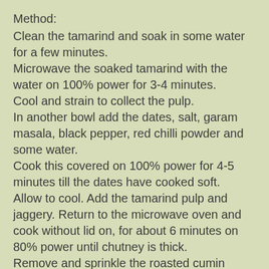Method:
Clean the tamarind and soak in some water for a few minutes.
Microwave the soaked tamarind with the water on 100% power for 3-4 minutes.
Cool and strain to collect the pulp.
In another bowl add the dates, salt, garam masala, black pepper, red chilli powder and some water.
Cook this covered on 100% power for 4-5 minutes till the dates have cooked soft.
Allow to cool. Add the tamarind pulp and jaggery. Return to the microwave oven and cook without lid on, for about 6 minutes on 80% power until chutney is thick.
Remove and sprinkle the roasted cumin seeds powder.
Cool and store.
Garnish with arils of pomegranate while serving.
This is a perfect accompaniment with papri chaat, dahi vada and such dishes.
This chutney will fill some space in Jagruti's Thali. She is hosting a series Complete my thali which will feature one